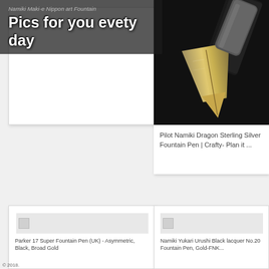Namiki Maki-e Nippon art Fountain
Pics for you evety day
[Figure (photo): White card placeholder in top-left area]
[Figure (photo): Close-up photo of a metallic fountain pen nib on dark background — Pilot Namiki Dragon Sterling Silver Fountain Pen]
Pilot Namiki Dragon Sterling Silver Fountain Pen | Crafty- Plan it ...
[Figure (photo): Bottom-left card with broken image placeholder]
Parker 17 Super Fountain Pen (UK) - Asymmetric, Black, Broad Gold
[Figure (photo): Bottom-right card with broken image placeholder]
Namiki Yukari Urushi Black lacquer No.20 Fountain Pen, Gold-FNK...
© 2018.